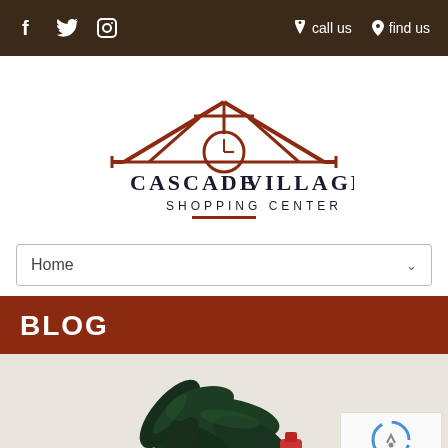f  twitter  instagram  | call us  find us
[Figure (logo): Cascade Village Shopping Center logo: dark red house/roof structure with clock design, text CASCADE VILLAGE SHOPPING CENTER]
Home
BLOG
[Figure (photo): Photo of a dark green leafy plant with a small red bottle/product, on a light beige background]